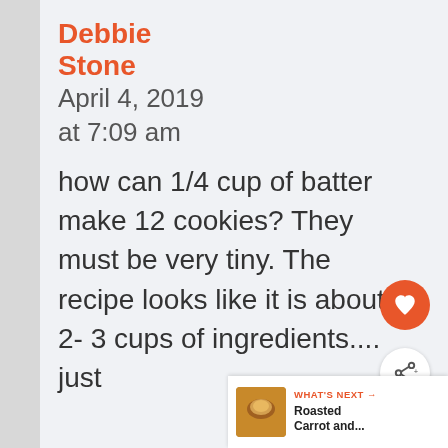Debbie Stone
April 4, 2019 at 7:09 am
how can 1/4 cup of batter make 12 cookies? They must be very tiny. The recipe looks like it is about 2- 3 cups of ingredients.... just
[Figure (infographic): Orange circular heart/favorite button]
[Figure (infographic): White circular share button with share icon]
WHAT'S NEXT → Roasted Carrot and...